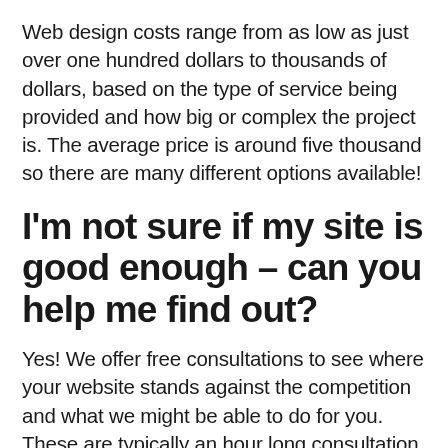Web design costs range from as low as just over one hundred dollars to thousands of dollars, based on the type of service being provided and how big or complex the project is. The average price is around five thousand so there are many different options available!
I'm not sure if my site is good enough – can you help me find out?
Yes! We offer free consultations to see where your website stands against the competition and what we might be able to do for you. These are typically an hour long consultation but it's up to us!